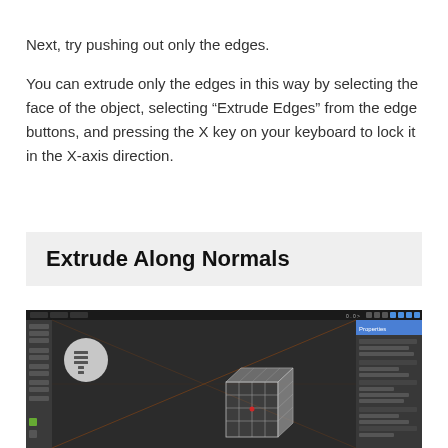Next, try pushing out only the edges.
You can extrude only the edges in this way by selecting the face of the object, selecting “Extrude Edges” from the edge buttons, and pressing the X key on your keyboard to lock it in the X-axis direction.
Extrude Along Normals
[Figure (screenshot): Screenshot of Blender 3D viewport showing a subdivided cube mesh with dark background, toolbar icons on the left, properties panel on the right, and diagonal guide lines in the viewport.]